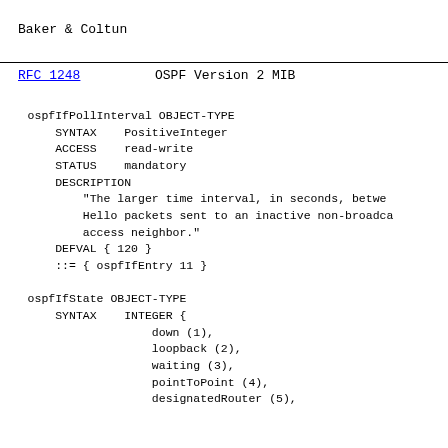Baker & Coltun
RFC 1248                    OSPF Version 2 MIB
ospfIfPollInterval OBJECT-TYPE
        SYNTAX    PositiveInteger
        ACCESS    read-write
        STATUS    mandatory
        DESCRIPTION
            "The larger time interval, in seconds, betwe
            Hello packets sent to an inactive non-broadca
            access neighbor."
        DEFVAL { 120 }
        ::= { ospfIfEntry 11 }

    ospfIfState OBJECT-TYPE
        SYNTAX    INTEGER {
                      down (1),
                      loopback (2),
                      waiting (3),
                      pointToPoint (4),
                      designatedRouter (5),